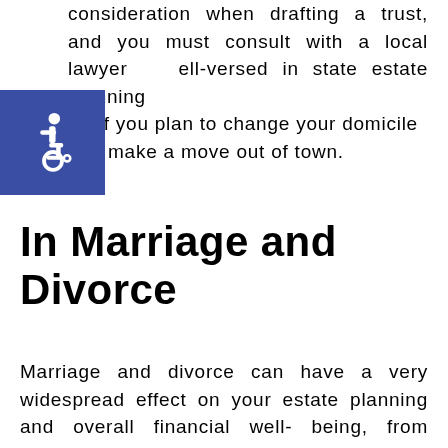consideration when drafting a trust, and you must consult with a local lawyer well-versed in state estate planning laws if you plan to change your domicile and make a move out of town.
[Figure (illustration): Blue square icon with white wheelchair accessibility symbol]
In Marriage and Divorce
Marriage and divorce can have a very widespread effect on your estate planning and overall financial well-being, from adding onto your wealth through joint assets, to massively reducing it due to the lack of a prenuptial agreement.